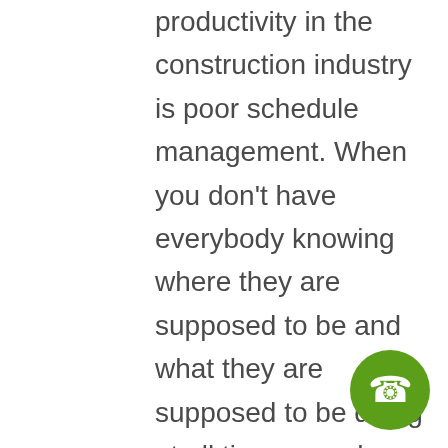productivity in the construction industry is poor schedule management. When you don't have everybody knowing where they are supposed to be and what they are supposed to be doing at all times, you have downtime.

Relating to this, another contributor is poor site coordination. At a construction site, you have each person
[Figure (other): Green circular phone/call button icon with white telephone handset symbol]